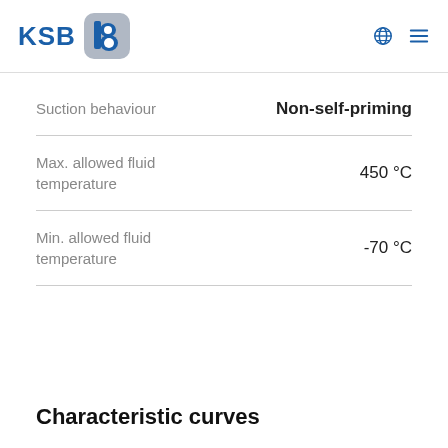KSB logo and navigation header
| Property | Value |
| --- | --- |
| Suction behaviour | Non-self-priming |
| Max. allowed fluid temperature | 450 °C |
| Min. allowed fluid temperature | -70 °C |
Characteristic curves